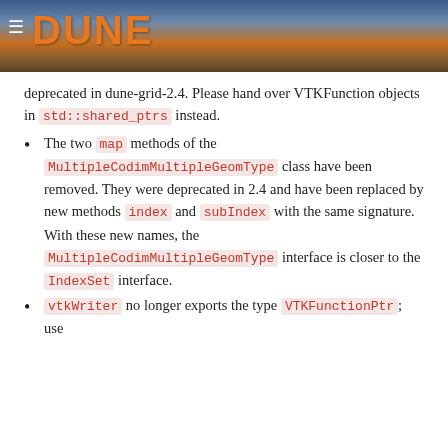DUNE
deprecated in dune-grid-2.4. Please hand over VTKFunction objects in std::shared_ptrs instead.
The two map methods of the MultipleCodimMultipleGeomType class have been removed. They were deprecated in 2.4 and have been replaced by new methods index and subIndex with the same signature. With these new names, the MultipleCodimMultipleGeomType interface is closer to the IndexSet interface.
vtkWriter no longer exports the type VTKFunctionPtr; use